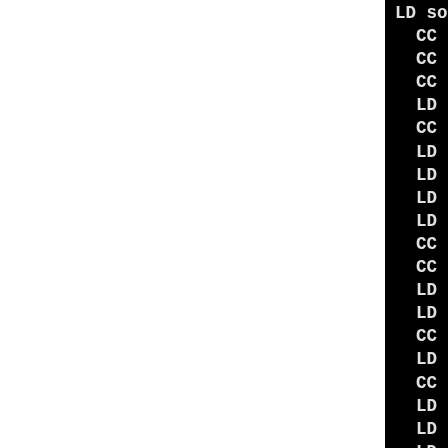LD sound/core/built-in.o
  CC [M] sound/isa/gus/inter
  CC kernel/vserver/proc.o
  CC [M] sound/oss/v_midi.o
  LD [M] sound/oss/sound.o
  CC [M] sound/core/jack.o
  LD [M] sound/core/snd.o
  LD [M] sound/core/snd-hwde
  LD [M] sound/core/snd-time
  LD [M] sound/core/snd-hrt
  CC kernel/vserver/device.c
  CC [M] sound/pci/rme96.o
  LD [M] sound/core/snd-pcm
  LD [M] sound/core/snd-rawm
  CC [M] sound/isa/gus/inter
  LD kernel/vserver/vserver
  CC [M] fs/btrfs/extent_io
  LD [M] sound/core/snd-comp
  LD kernel/vserver/built-in
  LD [M] sound/isa/gus/snd-g
o
  LD [M] sound/isa/gus/snd-g
  LD [M] sound/isa/gus/snd-g
  LD [M] sound/isa/gus/snd-